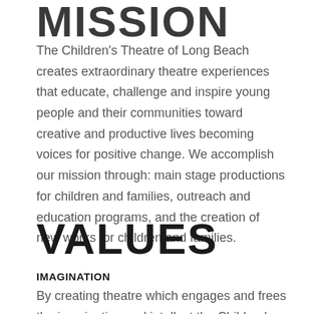MISSION
The Children's Theatre of Long Beach creates extraordinary theatre experiences that educate, challenge and inspire young people and their communities toward creative and productive lives becoming voices for positive change. We accomplish our mission through: main stage productions for children and families, outreach and education programs, and the creation of new works for children and families.
VALUES
IMAGINATION
By creating theatre which engages and frees the imagination and intellect the Children's Theatre of